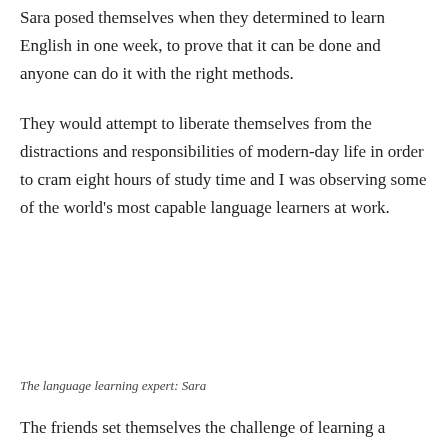Sara posed themselves when they determined to learn English in one week, to prove that it can be done and anyone can do it with the right methods.
They would attempt to liberate themselves from the distractions and responsibilities of modern-day life in order to cram eight hours of study time and I was observing some of the world's most capable language learners at work.
[Figure (photo): Image of the language learning expert Sara]
The language learning expert: Sara
The friends set themselves the challenge of learning a language in a week in order to stretch themselves, and then